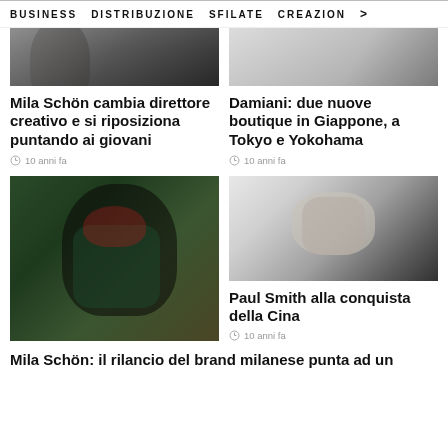BUSINESS   DISTRIBUZIONE   SFILATE   CREAZION  >
[Figure (photo): Two partial photos cropped at top, left shows a dark-haired fashion model, right shows a lighter fashion/portrait image]
Mila Schön cambia direttore creativo e si riposiziona puntando ai giovani
10 anni fa
Damiani: due nuove boutique in Giappone, a Tokyo e Yokohama
10 anni fa
[Figure (photo): Woman with dark hair in green outfit, fashion portrait]
[Figure (photo): Black and white photo of a man resting his hand on his face, Paul Smith]
Paul Smith alla conquista della Cina
10 anni fa
Mila Schön: il rilancio del brand milanese punta ad un